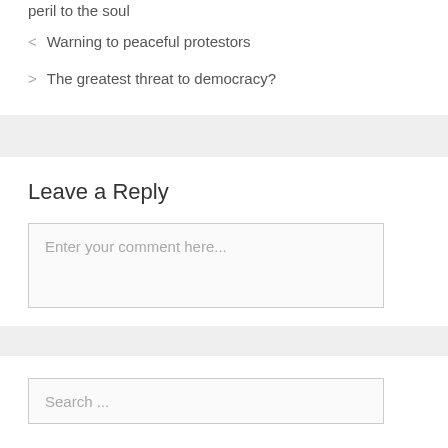peril to the soul
< Warning to peaceful protestors
> The greatest threat to democracy?
Leave a Reply
Enter your comment here...
Search ...